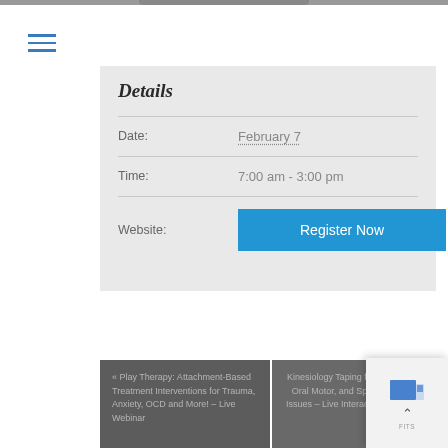Details
| Field | Value |
| --- | --- |
| Date: | February 7 |
| Time: | 7:00 am - 3:00 pm |
| Website: | Register Now |
« Play Therapy: Attachment-Based Treatment Interventions for Trauma, Anxiety, OCD and More! – Live Webinar
Kinesiology Taping for Respiratory, Oral Motor, and Speech Related Issues – Live Interactive Webinar »